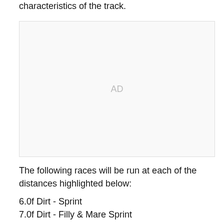characteristics of the track.
[Figure (other): Advertisement placeholder box with 'AD' label in center]
The following races will be run at each of the distances highlighted below:
6.0f Dirt - Sprint
7.0f Dirt - Filly & Mare Sprint
8.0f Dirt - Dirt Mile